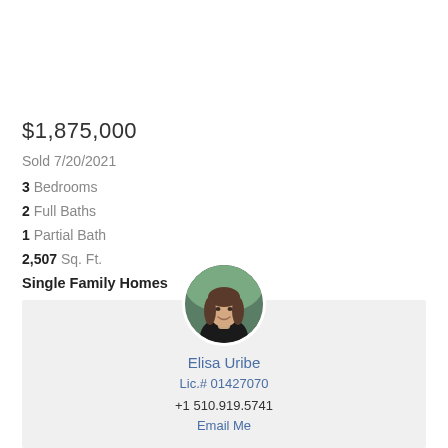$1,875,000
Sold 7/20/2021
3 Bedrooms
2 Full Baths
1 Partial Bath
2,507 Sq. Ft.
Single Family Homes
MLS# 40954763
ID: 40954763
[Figure (photo): Circular headshot of real estate agent Elisa Uribe]
Elisa Uribe
Lic.# 01427070
+1 510.919.5741
Email Me